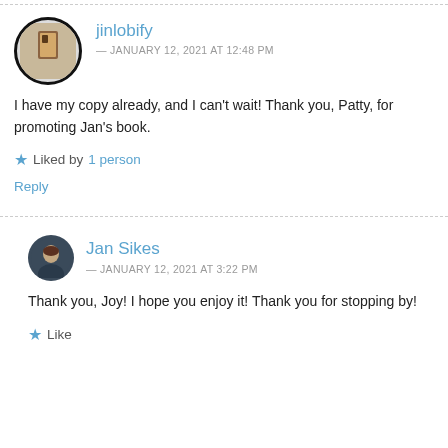jinlobify
— JANUARY 12, 2021 AT 12:48 PM
I have my copy already, and I can't wait! Thank you, Patty, for promoting Jan's book.
Liked by 1 person
Reply
Jan Sikes
— JANUARY 12, 2021 AT 3:22 PM
Thank you, Joy! I hope you enjoy it! Thank you for stopping by!
Like